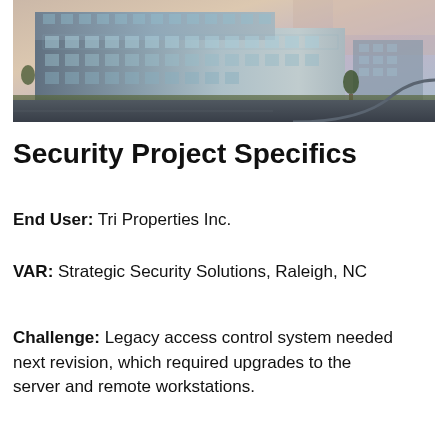[Figure (photo): Exterior photograph of a modern multi-story commercial office building at dusk/dawn, with a curved driveway in the foreground and a colorful sky in the background.]
Security Project Specifics
End User: Tri Properties Inc.
VAR: Strategic Security Solutions, Raleigh, NC
Challenge: Legacy access control system needed next revision, which required upgrades to the server and remote workstations.